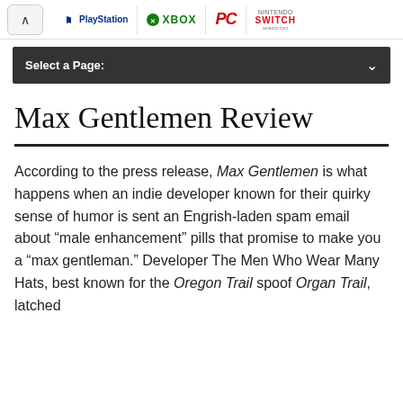PlayStation | XBOX | PC | NINTENDO SWITCH | amazon.com
Select a Page:
Max Gentlemen Review
According to the press release, Max Gentlemen is what happens when an indie developer known for their quirky sense of humor is sent an Engrish-laden spam email about “male enhancement” pills that promise to make you a “max gentleman.” Developer The Men Who Wear Many Hats, best known for the Oregon Trail spoof Organ Trail, latched